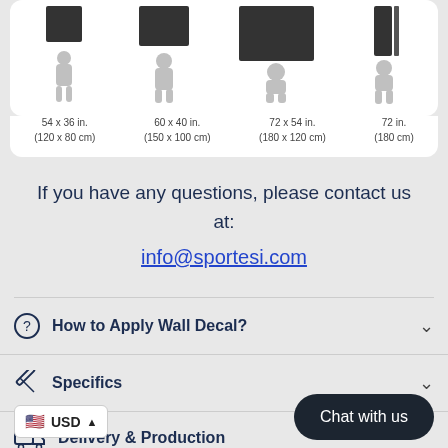[Figure (illustration): Size comparison illustration showing four human silhouettes with wall decals of increasing sizes: 54x36in (120x80cm), 60x40in (150x100cm), 72x54in (180x120cm), and 72in (180cm)]
If you have any questions, please contact us at:
info@sportesi.com
How to Apply Wall Decal?
Specifics
Delivery & Production
USD
Chat with us